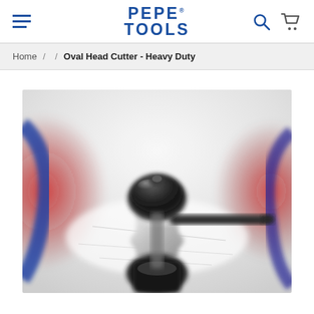PEPE TOOLS
Home / / Oval Head Cutter - Heavy Duty
[Figure (photo): Close-up photo of an Oval Head Cutter - Heavy Duty tool. The image shows a close-up top-down view of the cutting head mechanism, with a black dome-shaped knob on top, a metallic body, a side arm/handle in dark color, and red/blue elements in the background. The image is slightly blurred/out of focus giving a bokeh effect.]